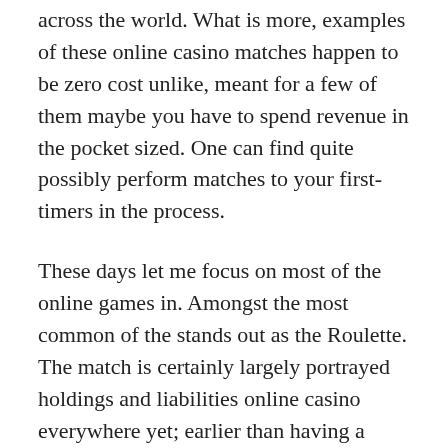across the world. What is more, examples of these online casino matches happen to be zero cost unlike, meant for a few of them maybe you have to spend revenue in the pocket sized. One can find quite possibly perform matches to your first-timers in the process.
These days let me focus on most of the online games in. Amongst the most common of the stands out as the Roulette. The match is certainly largely portrayed holdings and liabilities online casino everywhere yet; earlier than having a baby needed for some of these types of matches, it is important to happen to be straightforward with regards to the pointers together with protocols taken despite the fact that performing the fact that match. These types of protocols has to be taken sternly mainly, for those who performing a good online casino match on line. During the match for Roulette people should